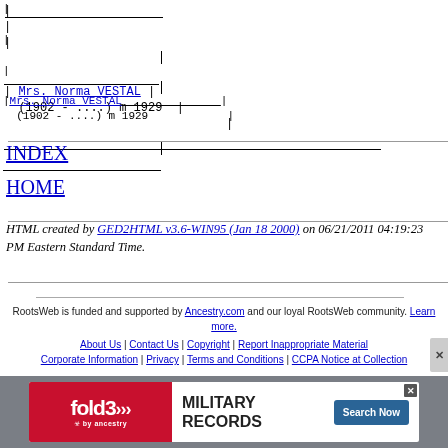| Mrs. Norma VESTAL (1902 - ....) m 1929 |
INDEX
HOME
HTML created by GED2HTML v3.6-WIN95 (Jan 18 2000) on 06/21/2011 04:19:23 PM Eastern Standard Time.
RootsWeb is funded and supported by Ancestry.com and our loyal RootsWeb community. Learn more.
About Us | Contact Us | Copyright | Report Inappropriate Material Corporate Information | Privacy | Terms and Conditions | CCPA Notice at Collection
[Figure (infographic): fold3 Military Records advertisement banner with Search Now button]